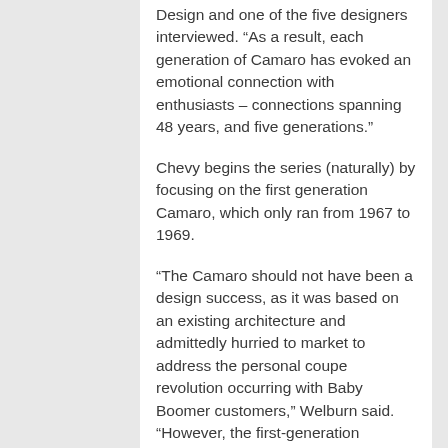Design and one of the five designers interviewed. “As a result, each generation of Camaro has evoked an emotional connection with enthusiasts – connections spanning 48 years, and five generations.”
Chevy begins the series (naturally) by focusing on the first generation Camaro, which only ran from 1967 to 1969.
“The Camaro should not have been a design success, as it was based on an existing architecture and admittedly hurried to market to address the personal coupe revolution occurring with Baby Boomer customers,” Welburn said. “However, the first-generation Camaro delivered a pure, classic proportion that will forever be regarded as one of the best-looking cars of its time. It was very lean and muscular, with comparatively minor embellishments for high-performance models. That was in contrast to some of the brasher competitors during the